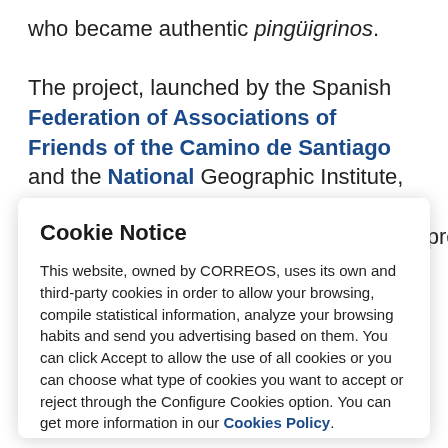who became authentic pingüigrinos. The project, launched by the Spanish Federation of Associations of Friends of the Camino de Santiago and the National Geographic Institute, will open on Sunday at 12:30 pm and will be present
Cookie Notice
This website, owned by CORREOS, uses its own and third-party cookies in order to allow your browsing, compile statistical information, analyze your browsing habits and send you advertising based on them. You can click Accept to allow the use of all cookies or you can choose what type of cookies you want to accept or reject through the Configure Cookies option. You can get more information in our Cookies Policy.
ACCEPT
Set Cookies